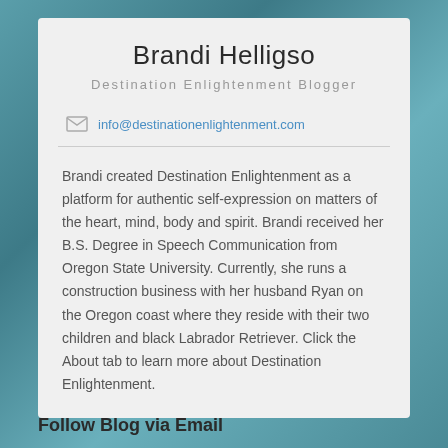Brandi Helligso
Destination Enlightenment Blogger
info@destinationenlightenment.com
Brandi created Destination Enlightenment as a platform for authentic self-expression on matters of the heart, mind, body and spirit. Brandi received her B.S. Degree in Speech Communication from Oregon State University. Currently, she runs a construction business with her husband Ryan on the Oregon coast where they reside with their two children and black Labrador Retriever. Click the About tab to learn more about Destination Enlightenment.
Follow Blog via Email